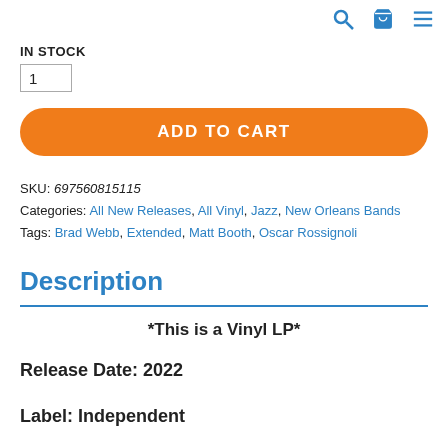In Stock
1
ADD TO CART
SKU: 697560815115
Categories: All New Releases, All Vinyl, Jazz, New Orleans Bands
Tags: Brad Webb, Extended, Matt Booth, Oscar Rossignoli
Description
*This is a Vinyl LP*
Release Date:  2022
Label:  Independent